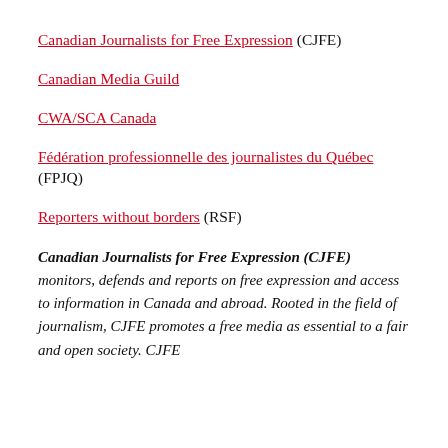Canadian Journalists for Free Expression (CJFE)
Canadian Media Guild
CWA/SCA Canada
Fédération professionnelle des journalistes du Québec (FPJQ)
Reporters without borders (RSF)
Canadian Journalists for Free Expression (CJFE) monitors, defends and reports on free expression and access to information in Canada and abroad. Rooted in the field of journalism, CJFE promotes a free media as essential to a fair and open society. CJFE